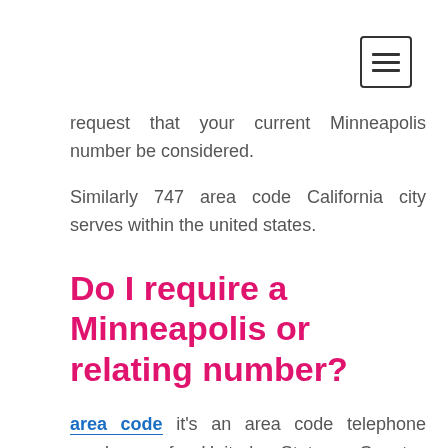≡ (hamburger menu)
request that your current Minneapolis number be considered.
Similarly 747 area code California city serves within the united states.
Do I require a Minneapolis or relating number?
area code it's an area code telephone number of United States Country. Grasshopper gives you both a nearby number and a relating number as a part of our assistance technique. A Minneapolis number is a predominant choice for gigantic affiliations that have a closer vibe.